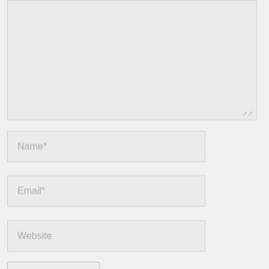[Figure (screenshot): A web form textarea input box (top portion visible), light gray background with resize handle at bottom right corner]
Name*
Email*
Website
Add Comment
FOLLOW US!